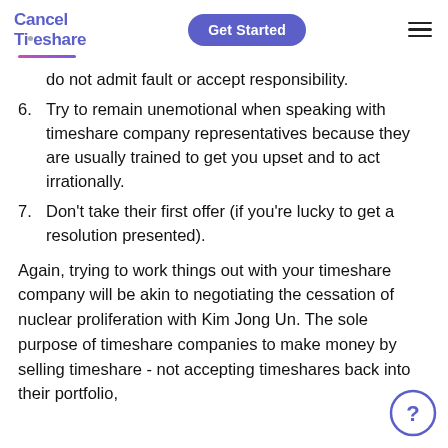Cancel Timeshare | Get Started
do not admit fault or accept responsibility.
6. Try to remain unemotional when speaking with timeshare company representatives because they are usually trained to get you upset and to act irrationally.
7. Don’t take their first offer (if you’re lucky to get a resolution presented).
Again, trying to work things out with your timeshare company will be akin to negotiating the cessation of nuclear proliferation with Kim Jong Un. The sole purpose of timeshare companies to make money by selling timeshare - not accepting timeshares back into their portfolio,